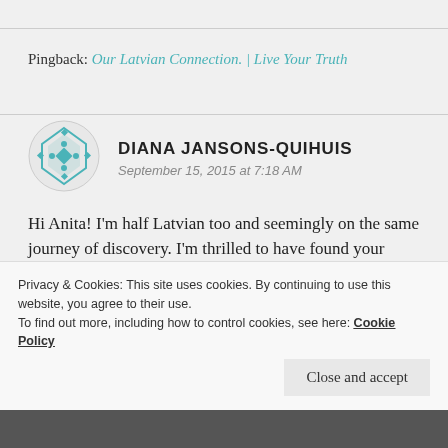Pingback: Our Latvian Connection. | Live Your Truth
[Figure (illustration): Decorative avatar icon with teal diamond/cross pattern on circular background]
DIANA JANSONS-QUIHUIS
September 15, 2015 at 7:18 AM
Hi Anita! I'm half Latvian too and seemingly on the same journey of discovery. I'm thrilled to have found your blog! I'm Canadian/American/Latvian. Dad went to Canada from England after the war. My Mom's from a Ukrainian background so we got bits and
Privacy & Cookies: This site uses cookies. By continuing to use this website, you agree to their use.
To find out more, including how to control cookies, see here: Cookie Policy
Close and accept